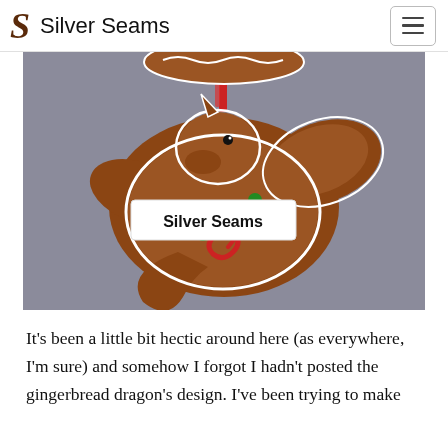Silver Seams
[Figure (photo): A gingerbread dragon ornament with white icing details, red ribbon hanger, green and red candy decorations, holding a white banner embroidered with 'Silver Seams' in black text. Background is gray.]
It’s been a little bit hectic around here (as everywhere, I’m sure) and somehow I forgot I hadn’t posted the gingerbread dragon’s design. I’ve been trying to make